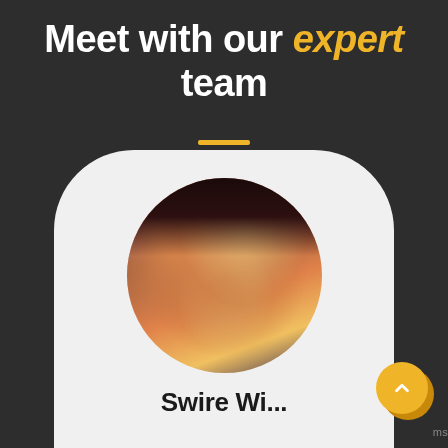Meet with our expert team
[Figure (illustration): A circular portrait photo of a young woman with dark hair and bangs, holding glowing fairy lights in her cupped hands, warm golden and sunset tones. Set within a light grey rounded card shape on a dark background.]
ms